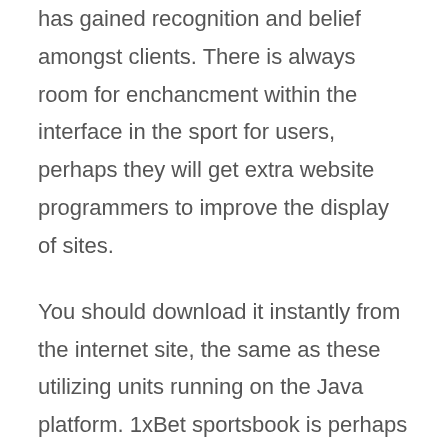has gained recognition and belief amongst clients. There is always room for enchancment within the interface in the sport for users, perhaps they will get extra website programmers to improve the display of sites.
You should download it instantly from the internet site, the same as these utilizing units running on the Java platform. 1xBet sportsbook is perhaps finest known for its exception reside streaming and betting platform. Live streaming has turn out to be an necessary element of the internet these days, and more individuals choose it because of sooner internet speed at cheaper rates than earlier than. You can now register with 1xBet and then be ready to observe all the motion on the go utilizing your cell or pill with